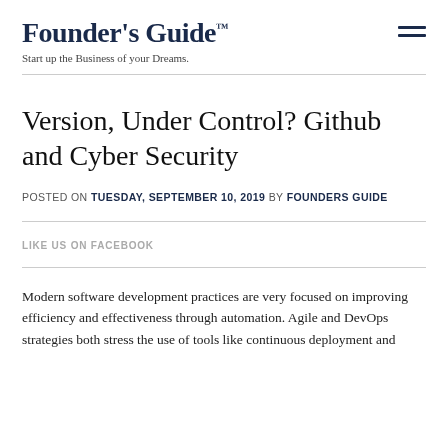Founder's Guide™ — Start up the Business of your Dreams.
Version, Under Control? Github and Cyber Security
POSTED ON TUESDAY, SEPTEMBER 10, 2019 BY FOUNDERS GUIDE
LIKE US ON FACEBOOK
Modern software development practices are very focused on improving efficiency and effectiveness through automation. Agile and DevOps strategies both stress the use of tools like continuous deployment and